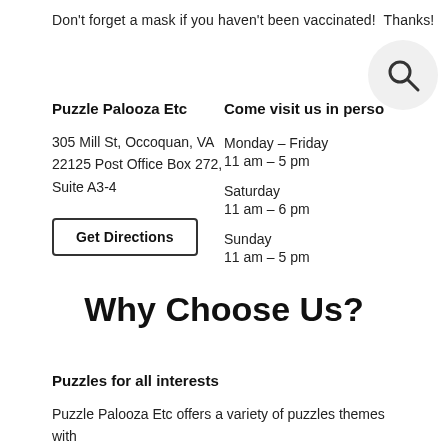Don't forget a mask if you haven't been vaccinated!  Thanks!
Puzzle Palooza Etc
Come visit us in perso
305 Mill St, Occoquan, VA
22125 Post Office Box 272,
Suite A3-4
Monday – Friday
11 am – 5 pm
Saturday
11 am – 6 pm
Sunday
11 am – 5 pm
Get Directions
Why Choose Us?
Puzzles for all interests
Puzzle Palooza Etc offers a variety of puzzles themes with